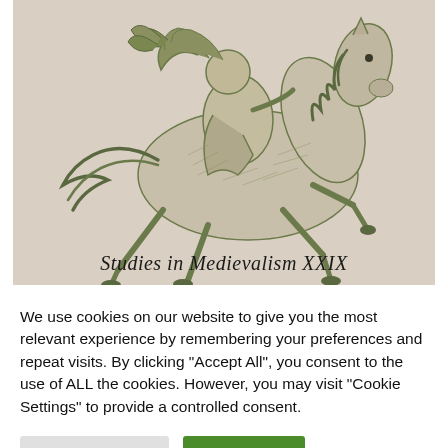[Figure (illustration): A vintage engraving illustration of a figure riding a rearing horse, rendered in green-tinted lines on a beige/tan background. This appears to be the cover image of 'Studies in Medievalism XXIX'.]
Studies in Medievalism XXIX
We use cookies on our website to give you the most relevant experience by remembering your preferences and repeat visits. By clicking "Accept All", you consent to the use of ALL the cookies. However, you may visit "Cookie Settings" to provide a controlled consent.